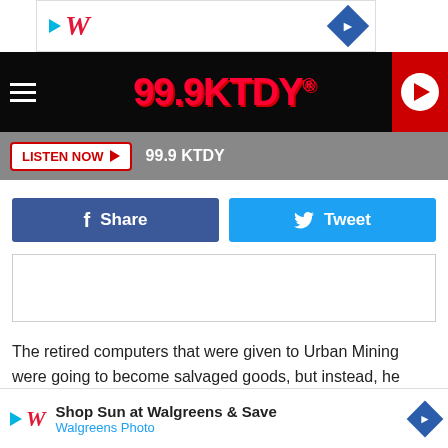[Figure (logo): Walgreens ad banner at top with W logo and navigation diamond]
[Figure (logo): 99.9 KTDY radio station navigation bar with hamburger menu and play button]
[Figure (screenshot): Listen Now button and 99.9 KTDY text on gray bar]
[Figure (screenshot): Facebook Share and Twitter Tweet social sharing buttons]
[Figure (screenshot): Empty white content box with border]
The retired computers that were given to Urban Mining were going to become salvaged goods, but instead, he refurbished them to donate them to those in need. Johnnie Mcburnie with Ur... e
[Figure (logo): Walgreens Shop Sun ad banner at bottom with W logo, Shop Sun at Walgreens & Save text, Walgreens Photo subtitle, and navigation diamond]